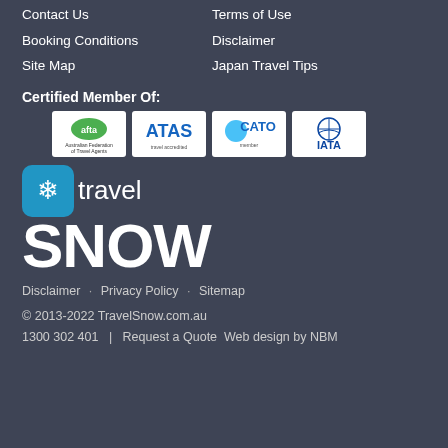Contact Us
Terms of Use
Booking Conditions
Disclaimer
Site Map
Japan Travel Tips
Certified Member Of:
[Figure (logo): afta logo - Australian Federation of Travel Agents]
[Figure (logo): ATAS logo - ATAS travel accredited]
[Figure (logo): CATO logo - CATO member]
[Figure (logo): IATA logo - International Air Transport Association]
[Figure (logo): Travel Snow brand logo with snowflake icon, travel and SNOW text]
Disclaimer · Privacy Policy · Sitemap
© 2013-2022 TravelSnow.com.au
1300 302 401   |   Request a Quote Web design by NBM